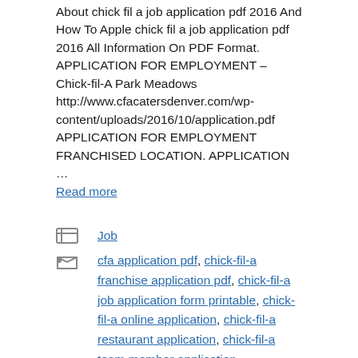About chick fil a job application pdf 2016 And How To Apple chick fil a job application pdf 2016 All Information On PDF Format. APPLICATION FOR EMPLOYMENT – Chick-fil-A Park Meadows http://www.cfacatersdenver.com/wp-content/uploads/2016/10/application.pdf APPLICATION FOR EMPLOYMENT FRANCHISED LOCATION. APPLICATION … Read more
Job
cfa application pdf, chick-fil-a franchise application pdf, chick-fil-a job application form printable, chick-fil-a online application, chick-fil-a restaurant application, chick-fil-a team member application, employment